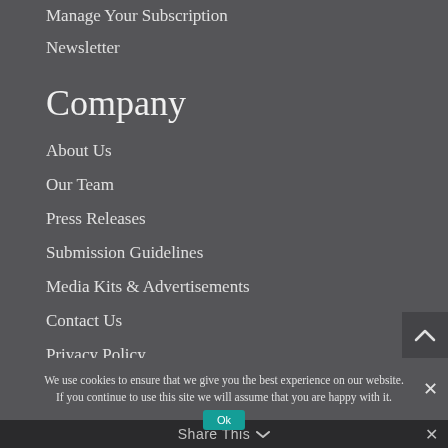Manage Your Subscription
Newsletter
Company
About Us
Our Team
Press Releases
Submission Guidelines
Media Kits & Advertisements
Contact Us
Privacy Policy
We use cookies to ensure that we give you the best experience on our website. If you continue to use this site we will assume that you are happy with it.
Share This